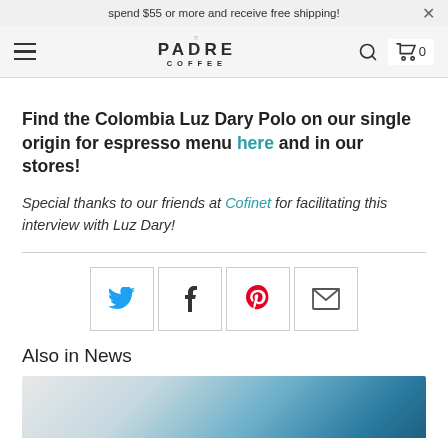spend $55 or more and receive free shipping!
[Figure (logo): Padre Coffee logo with hamburger menu, search icon, and cart icon showing 0 items]
Find the Colombia Luz Dary Polo on our single origin for espresso menu here and in our stores!
Special thanks to our friends at Cofinet for facilitating this interview with Luz Dary!
[Figure (infographic): Social share buttons: Twitter (blue bird), Facebook (f), Pinterest (red P), Email (envelope)]
Also in News
[Figure (photo): Partial photo of a blue and white coffee cup or bowl]